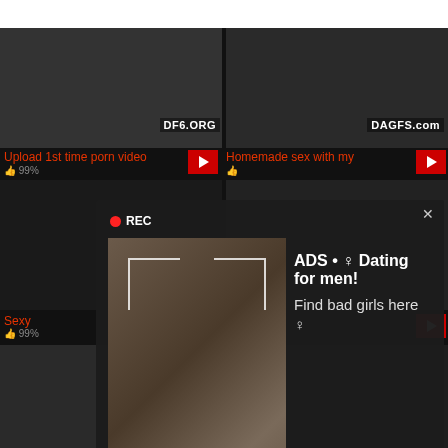[Figure (screenshot): Adult video website screenshot showing video thumbnails with two advertisement popups overlaid: a dating ad popup with camera/recording UI and a missed call audio ad popup]
Upload 1st time porn video
Homemade sex with my
Sexy
ADS • ♀ Dating for men! Find bad girls here ♀
ADS (1)Missed Call from Eliza pleeease call me back.. I miss you!
0:00
3:23